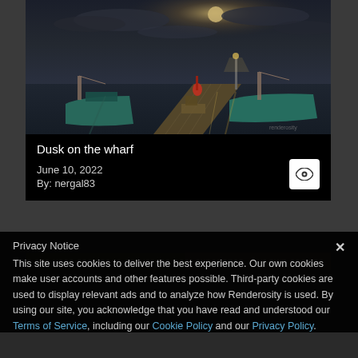[Figure (illustration): Dark atmospheric 3D render of a wharf at dusk with fishing boats docked along a pier, moonlit sky with clouds, greenish-teal boats with various cargo.]
Dusk on the wharf
June 10, 2022
By: nergal83
[Figure (screenshot): Partial view of a second image strip below the card, showing a dark landscape scene.]
Privacy Notice
This site uses cookies to deliver the best experience. Our own cookies make user accounts and other features possible. Third-party cookies are used to display relevant ads and to analyze how Renderosity is used. By using our site, you acknowledge that you have read and understood our Terms of Service, including our Cookie Policy and our Privacy Policy.